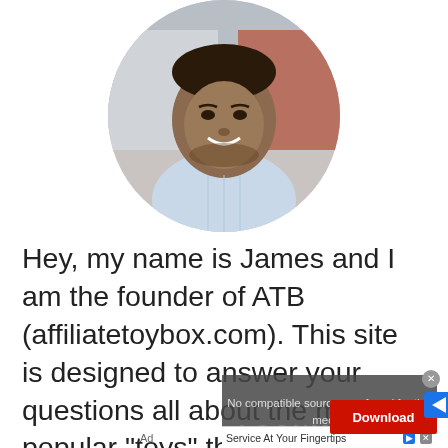[Figure (photo): Circular profile photo of a smiling man wearing a light blue shirt, cropped at the top of the frame]
Hey, my name is James and I am the founder of ATB (affiliatetoybox.com). This site is designed to answer your questions all about the most popular "toys" that we as adults enjoy.
Whether these "toys" are gaming
[Figure (screenshot): Ad overlay showing 'No compatible source was found for this media.' message with a video player interface, a 'Service At Your Fingertips' bar with Download button, LOONMONGER branding, and Ad label at bottom left]